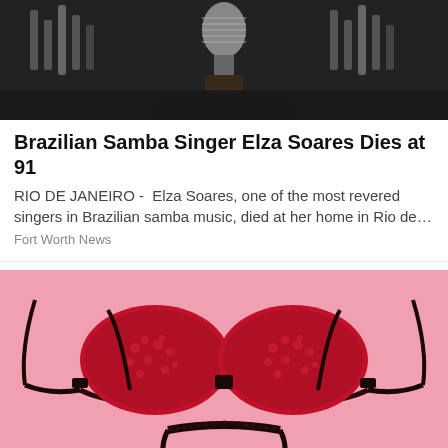[Figure (photo): Dark overhead photo showing a person holding a microphone, with decorative elements in background]
Brazilian Samba Singer Elza Soares Dies at 91
RIO DE JANEIRO -  Elza Soares, one of the most revered singers in Brazilian samba music, died at her home in Rio de…
Fort Worth News
[Figure (photo): Red and black lace bra and matching thong lingerie set arranged on a pink background]